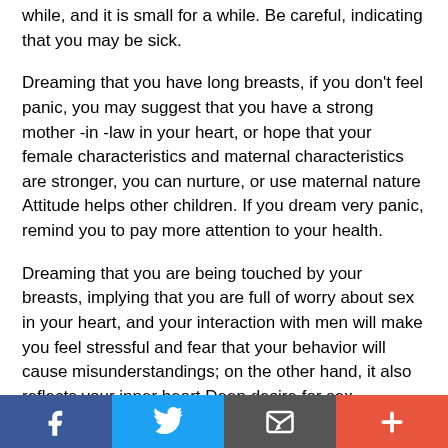while, and it is small for a while. Be careful, indicating that you may be sick.
Dreaming that you have long breasts, if you don't feel panic, you may suggest that you have a strong mother-in-law in your heart, or hope that your female characteristics and maternal characteristics are stronger, you can nurture, or use maternal nature Attitude helps other children. If you dream very panic, remind you to pay more attention to your health.
Dreaming that you are being touched by your breasts, implying that you are full of worry about sex in your heart, and your interaction with men will make you feel stressful and fear that your behavior will cause misunderstandings; on the other hand, it also reflects your inner heart Deep desire for sex.
Social share bar: Facebook, Twitter, Email, Plus